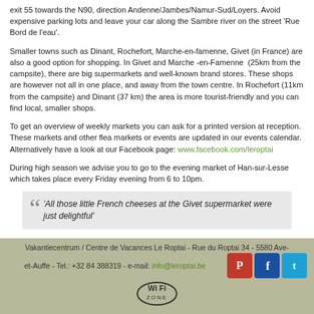exit 55 towards the N90, direction Andenne/Jambes/Namur-Sud/Loyers. Avoid expensive parking lots and leave your car along the Sambre river on the street 'Rue Bord de l'eau'.
Smaller towns such as Dinant, Rochefort, Marche-en-famenne, Givet (in France) are also a good option for shopping. In Givet and Marche -en-Famenne (25km from the campsite), there are big supermarkets and well-known brand stores. These shops are however not all in one place, and away from the town centre. In Rochefort (11km from the campsite) and Dinant (37 km) the area is more tourist-friendly and you can find local, smaller shops.
To get an overview of weekly markets you can ask for a printed version at reception. These markets and other flea markets or events are updated in our events calendar. Alternatively have a look at our Facebook page: www.facebook.com/leroptai
During high season we advise you to go to the evening market of Han-sur-Lesse which takes place every Friday evening from 6 to 10pm.
'All those little French cheeses at the Givet supermarket were just delightful'
Vakantiecentrum / Centre de Vacances Le Roptai - Rue du Roptai 34 - 5580 Ave-et-Auffe - Tel.: +32 84 388319 - e-mail: info@leroptai.be